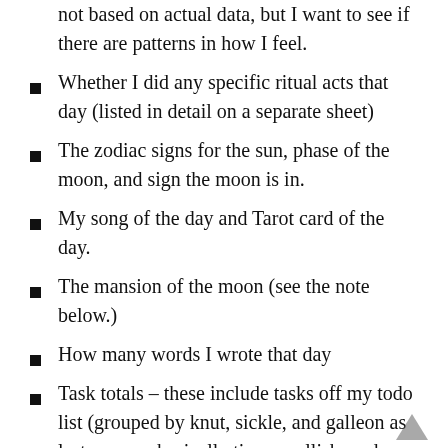not based on actual data, but I want to see if there are patterns in how I feel.
Whether I did any specific ritual acts that day (listed in detail on a separate sheet)
The zodiac signs for the sun, phase of the moon, and sign the moon is in.
My song of the day and Tarot card of the day.
The mansion of the moon (see the note below.)
How many words I wrote that day
Task totals – these include tasks off my todo list (grouped by knut, sickle, and galleon as last year, so basically tiny, smallish, and large, where tiny is ‘I read a reminder’, smallish is ‘5 minutes to the length of writing an email that isn’t too complicated’, and large is ‘one to two hours of